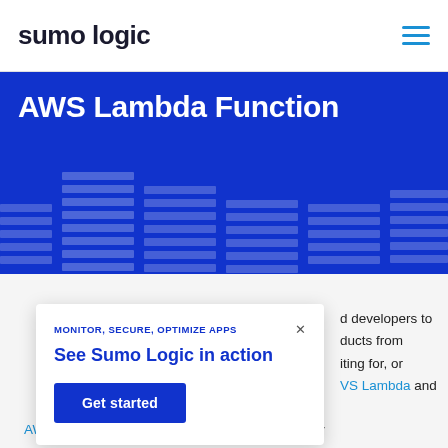sumo logic
AWS Lambda Function
[Figure (illustration): Decorative equalizer bar chart graphic on blue background representing data/monitoring visualization]
MONITOR, SECURE, OPTIMIZE APPS
See Sumo Logic in action
Get started
developers to ducts from iting for, or VS Lambda and AWS CloudWatch Logs, both services provided by